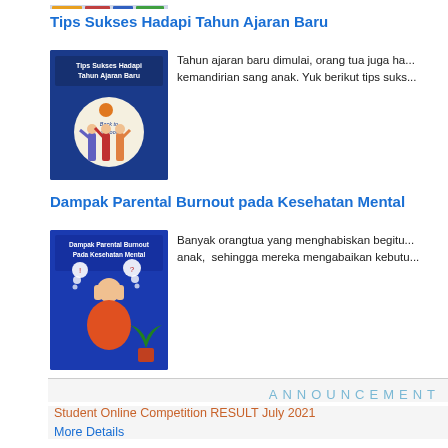[Figure (illustration): Thumbnail image at top of page (partial, cropped)]
Tips Sukses Hadapi Tahun Ajaran Baru
[Figure (illustration): Article thumbnail: Tips Sukses Hadapi Tahun Ajaran Baru with Back to School illustration showing children]
Tahun ajaran baru dimulai, orang tua juga ha... kemandirian sang anak. Yuk berikut tips suks...
Dampak Parental Burnout pada Kesehatan Mental
[Figure (illustration): Article thumbnail: Dampak Parental Burnout Pada Kesehatan Mental with illustration of stressed parent]
Banyak orangtua yang menghabiskan begitu... anak, sehingga mereka mengabaikan kebutu...
ANNOUNCEMENT
Student Online Competition RESULT July 2021
More Details